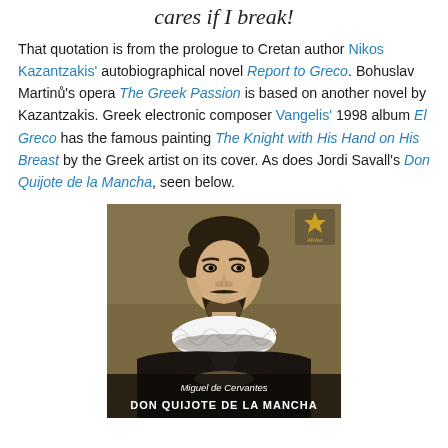cares if I break!
That quotation is from the prologue to Cretan author Nikos Kazantzakis' autobiographical novel Report to Greco. Bohuslav Martinů's opera The Greek Passion is based on another novel by Kazantzakis. Greek electronic composer Vangelis' 1998 album El Greco has the famous painting The Knight with His Hand on His Breast by the Greek artist on its cover. As does Jordi Savall's Don Quijote de la Mancha, seen below.
[Figure (photo): Album cover of Don Quijote de la Mancha by Jordi Savall, showing El Greco's painting The Knight with His Hand on His Breast — a man in dark clothing with a white ruff collar, beard, with text 'Miguel de Cervantes DON QUIJOTE DE LA MANCHA' at the bottom and AliVox logo top right.]